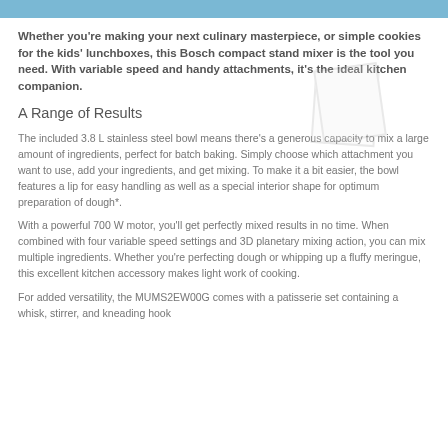Whether you're making your next culinary masterpiece, or simple cookies for the kids' lunchboxes, this Bosch compact stand mixer is the tool you need. With variable speed and handy attachments, it's the ideal kitchen companion.
A Range of Results
The included 3.8 L stainless steel bowl means there's a generous capacity to mix a large amount of ingredients, perfect for batch baking. Simply choose which attachment you want to use, add your ingredients, and get mixing. To make it a bit easier, the bowl features a lip for easy handling as well as a special interior shape for optimum preparation of dough*.
With a powerful 700 W motor, you'll get perfectly mixed results in no time. When combined with four variable speed settings and 3D planetary mixing action, you can mix multiple ingredients. Whether you're perfecting dough or whipping up a fluffy meringue, this excellent kitchen accessory makes light work of cooking.
For added versatility, the MUMS2EW00G comes with a patisserie set containing a whisk, stirrer, and kneading hook